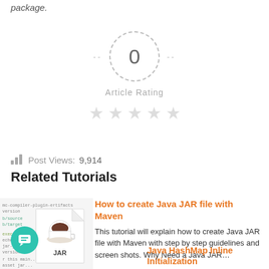package.
[Figure (infographic): Article rating widget: dashed circle with '0' in center, flanked by dashed lines, with 'Article Rating' label below and 5 empty grey stars beneath]
Post Views: 9,914
Related Tutorials
[Figure (illustration): Thumbnail image showing Java code in background and a JAR file icon with coffee cup, labeled JAR]
How to create Java JAR file with Maven
This tutorial will explain how to create Java JAR file with Maven with step by step guidelines and screen shots. Why Need a Java JAR…
Java HashMap Inline Initialization